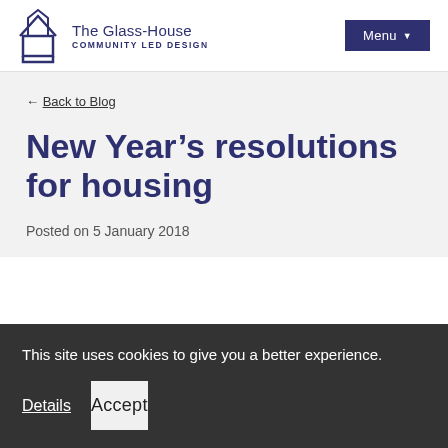The Glass-House COMMUNITY LED DESIGN | Menu
← Back to Blog
New Year's resolutions for housing
Posted on 5 January 2018
This site uses cookies to give you a better experience.
Details | Accept